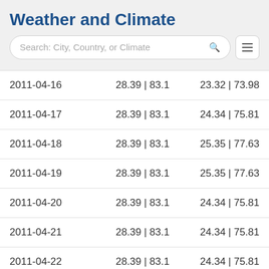Weather and Climate
Search: City, Country, or Climate
| 2011-04-16 | 28.39 | 83.1 | 23.32 | 73.98 |
| 2011-04-17 | 28.39 | 83.1 | 24.34 | 75.81 |
| 2011-04-18 | 28.39 | 83.1 | 25.35 | 77.63 |
| 2011-04-19 | 28.39 | 83.1 | 25.35 | 77.63 |
| 2011-04-20 | 28.39 | 83.1 | 24.34 | 75.81 |
| 2011-04-21 | 28.39 | 83.1 | 24.34 | 75.81 |
| 2011-04-22 | 28.39 | 83.1 | 24.34 | 75.81 |